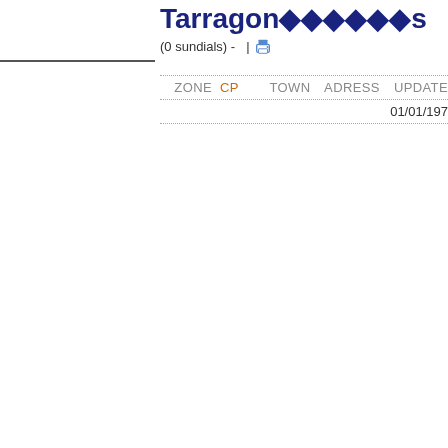Tarragon������s
(0 sundials) - |
| ZONE | CP | TOWN | ADRESS | UPDATE |
| --- | --- | --- | --- | --- |
|  |  |  |  | 01/01/197... |